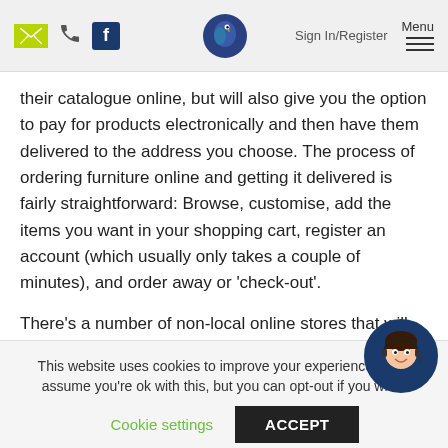Sign In/Register | Menu | [email icon] [phone icon] [facebook icon] [parrot logo]
their catalogue online, but will also give you the option to pay for products electronically and then have them delivered to the address you choose. The process of ordering furniture online and getting it delivered is fairly straightforward: Browse, customise, add the items you want in your shopping cart, register an account (which usually only takes a couple of minutes), and order away or 'check-out'.
There's a number of non-local online stores that will deliver furniture to Malta, but for this article, we're focusing on
This website uses cookies to improve your experience. We'll assume you're ok with this, but you can opt-out if you wish.
Cookie settings    ACCEPT